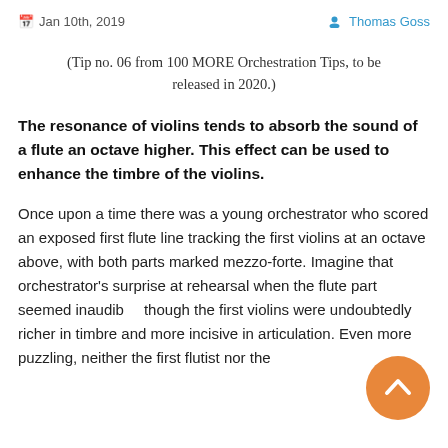Jan 10th, 2019   Thomas Goss
(Tip no. 06 from 100 MORE Orchestration Tips, to be released in 2020.)
The resonance of violins tends to absorb the sound of a flute an octave higher. This effect can be used to enhance the timbre of the violins.
Once upon a time there was a young orchestrator who scored an exposed first flute line tracking the first violins at an octave above, with both parts marked mezzo-forte. Imagine that orchestrator's surprise at rehearsal when the flute part seemed inaudible, though the first violins were undoubtedly richer in timbre and more incisive in articulation. Even more puzzling, neither the first flutist nor the